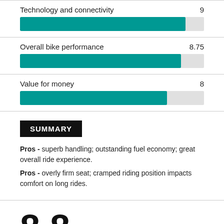[Figure (bar-chart): Technology and connectivity]
[Figure (bar-chart): Overall bike performance]
[Figure (bar-chart): Value for money]
SUMMARY
Pros - superb handling; outstanding fuel economy; great overall ride experience.
Pros - overly firm seat; cramped riding position impacts comfort on long rides.
8.8